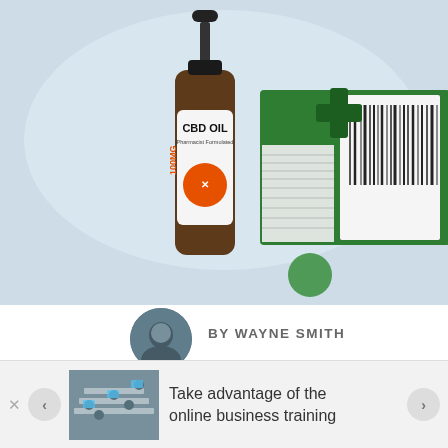[Figure (photo): CBD Oil bottle (100MG, amber glass dropper bottle labeled 'CBD OIL Pharmacist Formulated') next to a green product box with barcode, on a light blue/white background]
[Figure (photo): Small circular author avatar photo of Wayne Smith]
BY WAYNE SMITH
— AUGUST 6, 2022 — HEALTH
[Figure (photo): Advertisement thumbnail: people at a business training session around a table with computers]
Take advantage of the online business training